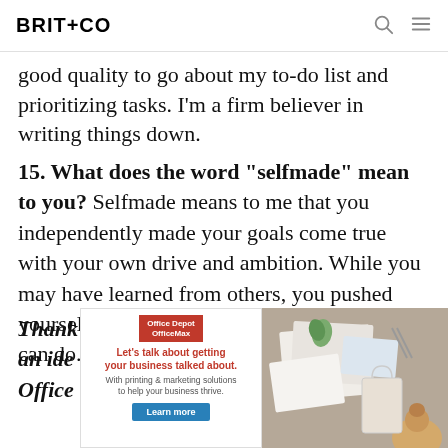BRIT+CO
good quality to go about my to-do list and prioritizing tasks. I’m a firm believer in writing things down.
15. What does the word “selfmade” mean to you? Selfmade means to me that you independently made your goals come true with your own drive and ambition. While you may have learned from others, you pushed yourself forward and took action that only you can do.
Thank… on an ide… iness, Office… next
[Figure (screenshot): Office Depot OfficeMax advertisement with red logo, red headline 'Let’s talk about getting your business talked about.', subtext about printing and marketing solutions, Learn more button, and a photo of business stationery on a desk.]